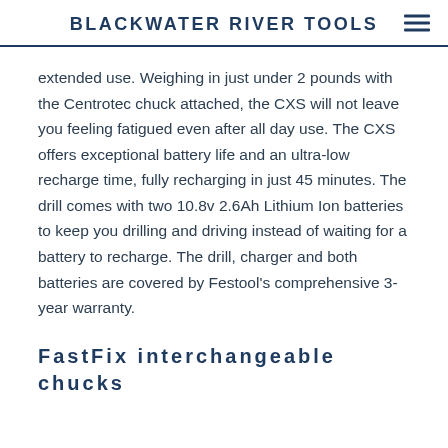BLACKWATER RIVER TOOLS
extended use. Weighing in just under 2 pounds with the Centrotec chuck attached, the CXS will not leave you feeling fatigued even after all day use. The CXS offers exceptional battery life and an ultra-low recharge time, fully recharging in just 45 minutes. The drill comes with two 10.8v 2.6Ah Lithium Ion batteries to keep you drilling and driving instead of waiting for a battery to recharge. The drill, charger and both batteries are covered by Festool's comprehensive 3-year warranty.
FastFix interchangeable chucks